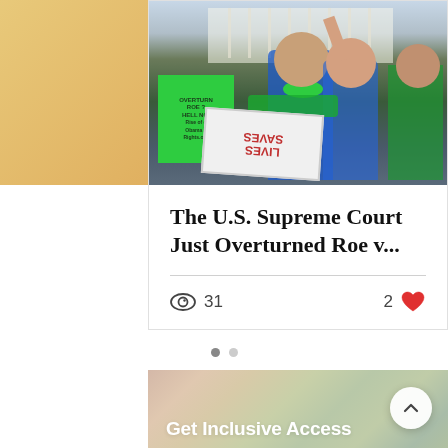[Figure (photo): Protest photo at the U.S. Supreme Court showing demonstrators holding signs including 'Overturn Roe? Hell No! Rise of c Obama n Rights.org' and 'LIVES SAVES' (upside down), with people wearing green and blue clothing]
The U.S. Supreme Court Just Overturned Roe v...
31 views, 2 likes
[Figure (illustration): Pastel gradient background banner in pink, peach, green tones with text 'Get Inclusive Access']
Get Inclusive Access